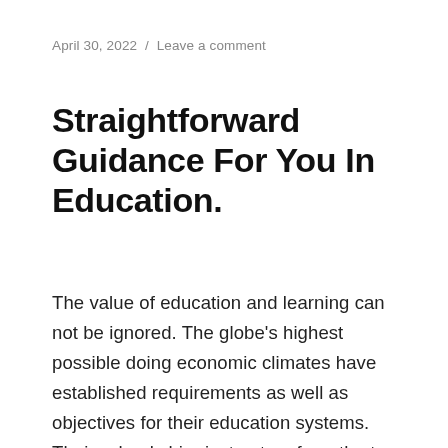April 30, 2022 / Leave a comment
Straightforward Guidance For You In Education.
The value of education and learning can not be ignored. The globe's highest possible doing economic climates have established requirements as well as objectives for their education systems. Their schools hire instructors from the top five to ten percent of their university graduates. Yet, their educational systems are still not up to par. So